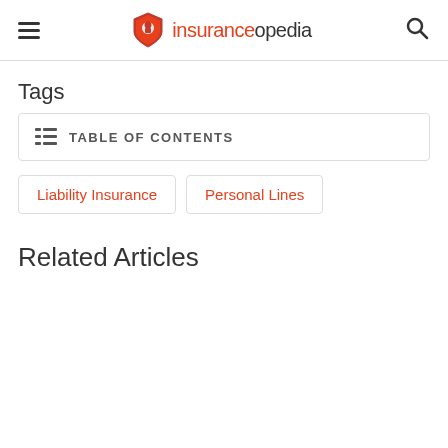insuranceopedia
Tags
TABLE OF CONTENTS
Liability Insurance
Personal Lines
Related Articles